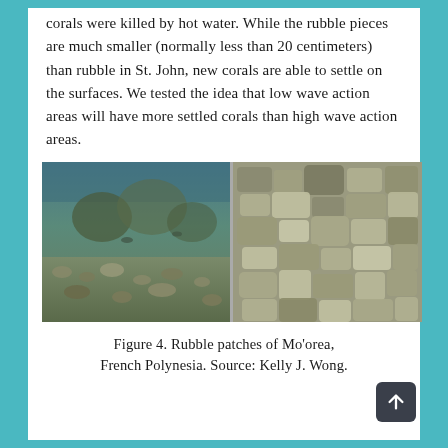corals were killed by hot water. While the rubble pieces are much smaller (normally less than 20 centimeters) than rubble in St. John, new corals are able to settle on the surfaces. We tested the idea that low wave action areas will have more settled corals than high wave action areas.
[Figure (photo): Two side-by-side underwater photographs showing coral rubble patches in Mo'orea, French Polynesia. The left image shows a wider view of rubble on the seafloor with some coral structures visible in the background. The right image shows a close-up of coral rubble pieces stacked together.]
Figure 4. Rubble patches of Mo’orea, French Polynesia. Source: Kelly J. Wong.